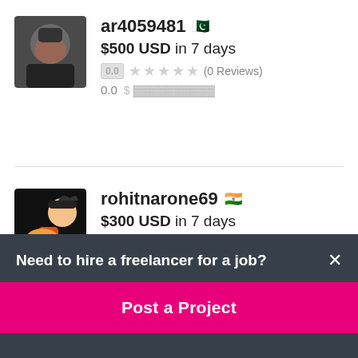ar4059481 🇵🇰
$500 USD in 7 days
0.0 ★★★★★ (0 Reviews)
0.0
rohitnarone69 🇮🇳
$300 USD in 7 days
0.0 ★★★★★ (0 Reviews)
Need to hire a freelancer for a job?
Post a Project